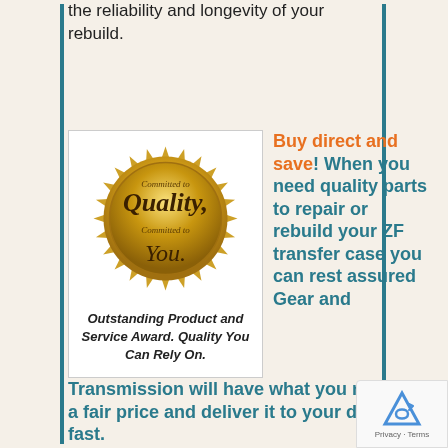the reliability and longevity of your rebuild.
[Figure (illustration): Gold seal badge with text 'Committed to Quality. Committed to You.' Outstanding Product and Service Award.]
Outstanding Product and Service Award. Quality You Can Rely On.
Buy direct and save! When you need quality parts to repair or rebuild your ZF transfer case you can rest assured Gear and Transmission will have what you need at a fair price and deliver it to your door fast.